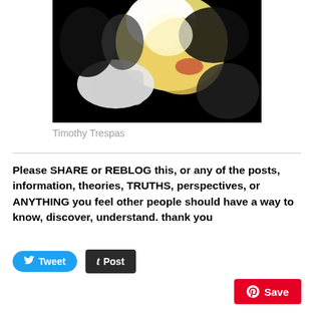[Figure (photo): High contrast black and white photo with yellow tones showing a person or figure, appears artistic/abstract]
Timothy Trespas
Please SHARE or REBLOG this, or any of the posts, information, theories, TRUTHS, perspectives, or ANYTHING you feel other people should have a way to know, discover, understand. thank you